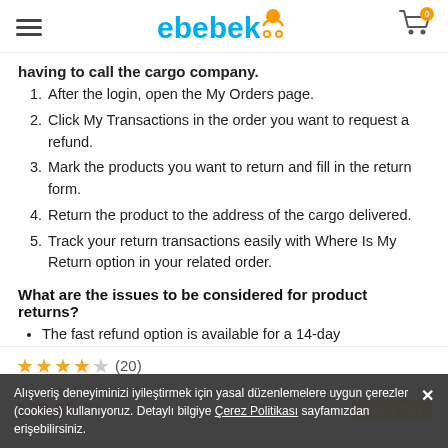ebebek (logo) – hamburger menu and cart icon with badge 0
having to call the cargo company.
1. After the login, open the My Orders page.
2. Click My Transactions in the order you want to request a refund.
3. Mark the products you want to return and fill in the return form.
4. Return the product to the address of the cargo delivered.
5. Track your return transactions easily with Where Is My Return option in your related order.
What are the issues to be considered for product returns?
The fast refund option is available for a 14-day
★★★★☆ (20)
LET'S BE CHILD Konz Baby Educational Cubes 129,99 TL – Add to Cart
Alışveriş deneyiminizi iyileştirmek için yasal düzenlemelere uygun çerezler (cookies) kullanıyoruz. Detaylı bilgiye Çerez Politikası sayfamızdan erişebilirsiniz.